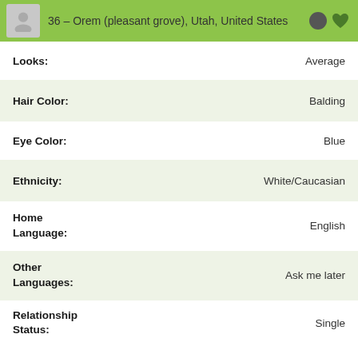36 – Orem (pleasant grove), Utah, United States
Looks: Average
Hair Color: Balding
Eye Color: Blue
Ethnicity: White/Caucasian
Home Language: English
Other Languages: Ask me later
Relationship Status: Single